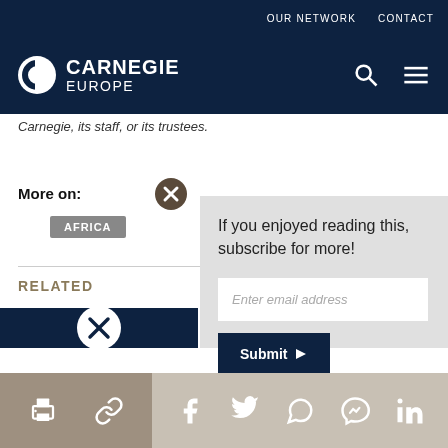OUR NETWORK   CONTACT
[Figure (logo): Carnegie Europe logo with circular C icon and white text on dark navy background]
Carnegie, its staff, or its trustees.
More on:
AFRICA
If you enjoyed reading this, subscribe for more!
Enter email address
Submit
RELATED
Print, share icons toolbar